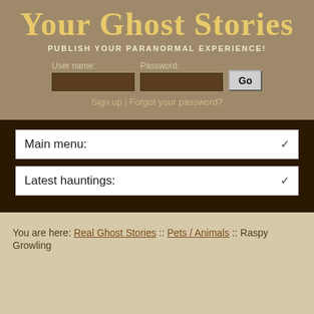Your Ghost Stories
PUBLISH YOUR PARANORMAL EXPERIENCE!
User name: [input] Password: [input] Go
Sign up | Forgot your password?
Main menu: ▾
Latest hauntings: ▾
You are here: Real Ghost Stories :: Pets / Animals :: Raspy Growling